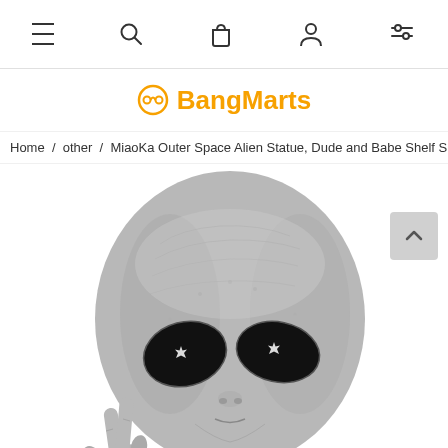Navigation bar with menu, search, cart, account, and filter icons
BangMarts
Home / other / MiaoKa Outer Space Alien Statue, Dude and Babe Shelf Sitte
[Figure (photo): Product photo of a gray alien statue making a peace sign with its hand, showing large black eyes with white star-shaped reflections, detailed textured skin, close-up of head and upper body. A scroll-to-top button is visible in the upper right.]